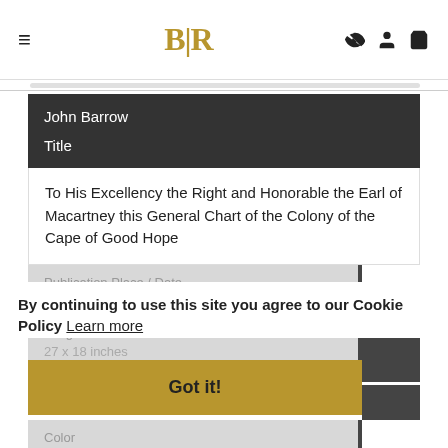BLR
John Barrow
Title
To His Excellency the Right and Honorable the Earl of Macartney this General Chart of the Colony of the Cape of Good Hope
Publication Place / Date
London / 1805
Image Dimensions
27 x 18 inches
By continuing to use this site you agree to our Cookie Policy  Learn more
Got it!
Color